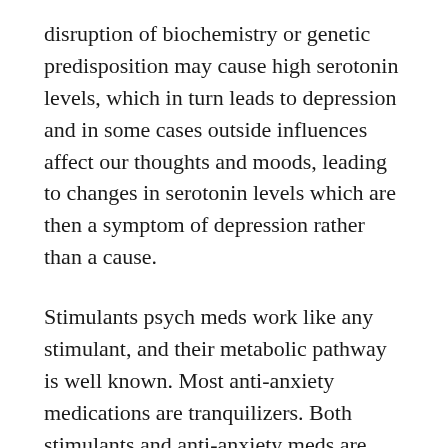disruption of biochemistry or genetic predisposition may cause high serotonin levels, which in turn leads to depression and in some cases outside influences affect our thoughts and moods, leading to changes in serotonin levels which are then a symptom of depression rather than a cause.
Stimulants psych meds work like any stimulant, and their metabolic pathway is well known. Most anti-anxiety medications are tranquilizers. Both stimulants and anti-anxiety meds are used to treat symptoms only, no one believes that they actually address the causes of mental illness. Anti-anxiety meds, in particular, should not be taken for long periods of time, due to